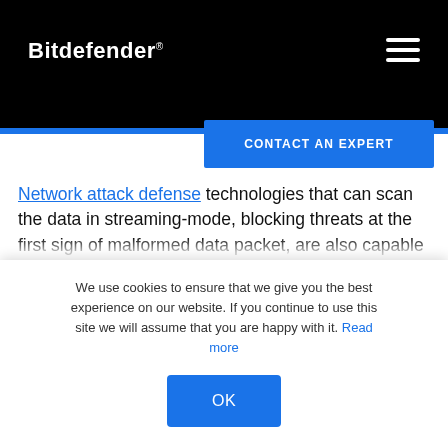Bitdefender
Network attack defense technologies that can scan the data in streaming-mode, blocking threats at the first sign of malformed data packet, are also capable of blocking the exploitation of RDP vulnerabilities at the network level, before any malicious payload ever reaches the targeted machine. Blocking network-based threats using these
We use cookies to ensure that we give you the best experience on our website. If you continue to use this site we will assume that you are happy with it. Read more
OK